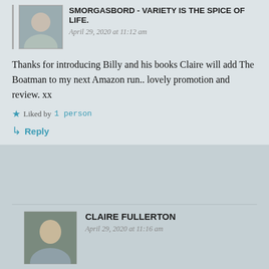SMORGASBORD - VARIETY IS THE SPICE OF LIFE.
April 29, 2020 at 11:12 am
Thanks for introducing Billy and his books Claire will add The Boatman to my next Amazon run.. lovely promotion and review. xx
Liked by 1 person
Reply
CLAIRE FULLERTON
April 29, 2020 at 11:16 am
I can't even speak, I love this Irish author so much!